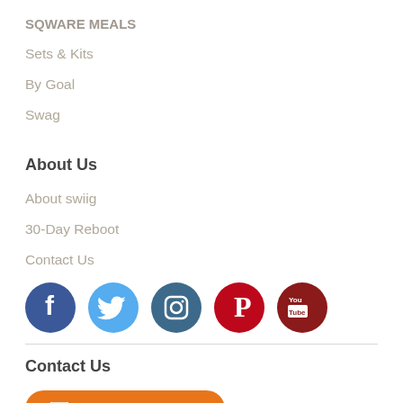SQWARE MEALS
Sets & Kits
By Goal
Swag
About Us
About swiig
30-Day Reboot
Contact Us
[Figure (infographic): Row of 5 social media icons: Facebook (dark blue circle), Twitter (light blue circle), Instagram (dark teal circle), Pinterest (red circle), YouTube (dark red circle)]
Contact Us
SEND A MESSAGE (button)